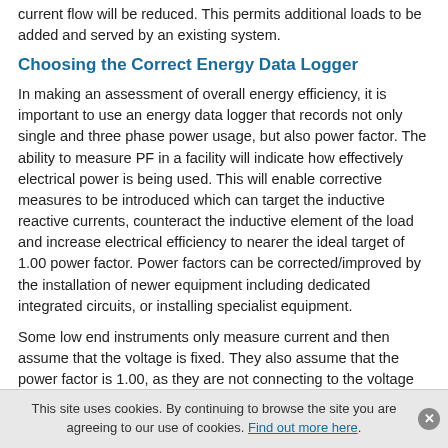current flow will be reduced. This permits additional loads to be added and served by an existing system.
Choosing the Correct Energy Data Logger
In making an assessment of overall energy efficiency, it is important to use an energy data logger that records not only single and three phase power usage, but also power factor. The ability to measure PF in a facility will indicate how effectively electrical power is being used. This will enable corrective measures to be introduced which can target the inductive reactive currents, counteract the inductive element of the load and increase electrical efficiency to nearer the ideal target of 1.00 power factor. Power factors can be corrected/improved by the installation of newer equipment including dedicated integrated circuits, or installing specialist equipment.
Some low end instruments only measure current and then assume that the voltage is fixed. They also assume that the power factor is 1.00, as they are not connecting to the voltage and comparing its timing with the current flow. Therefore this can present a very inaccurate picture of actual electricity usage. To present an accurate measurement of power usage, it is important to choose an energy logger that measures both voltage and
This site uses cookies. By continuing to browse the site you are agreeing to our use of cookies. Find out more here.